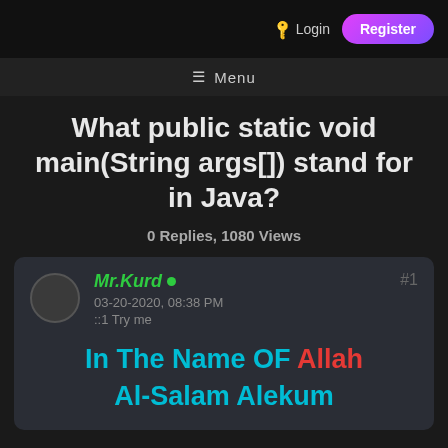Login  Register
≡  Menu
What public static void main(String args[]) stand for in Java?
0 Replies, 1080 Views
Mr.Kurd  03-20-2020, 08:38 PM  ::1 Try me  #1
In The Name OF Allah Al-Salam Alekum